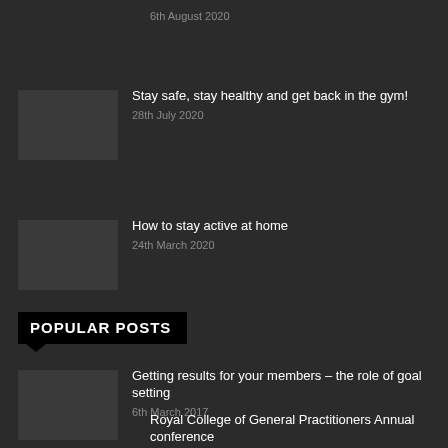6th August 2020
Stay safe, stay healthy and get back in the gym!
28th July 2020
How to stay active at home
24th March 2020
POPULAR POSTS
Getting results for your members – the role of goal setting
6th March 2017
Royal College of General Practitioners Annual conference